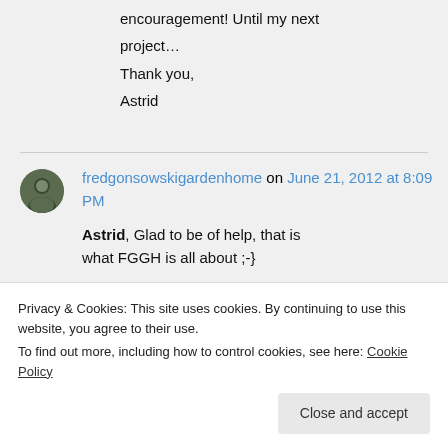encouragement! Until my next project…
Thank you,
Astrid
fredgonsowskigardenhome on June 21, 2012 at 8:09 PM
Astrid, Glad to be of help, that is what FGGH is all about ;-}
Privacy & Cookies: This site uses cookies. By continuing to use this website, you agree to their use.
To find out more, including how to control cookies, see here: Cookie Policy